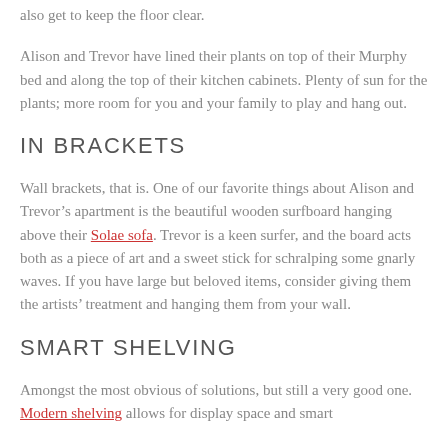also get to keep the floor clear.
Alison and Trevor have lined their plants on top of their Murphy bed and along the top of their kitchen cabinets. Plenty of sun for the plants; more room for you and your family to play and hang out.
IN BRACKETS
Wall brackets, that is. One of our favorite things about Alison and Trevor’s apartment is the beautiful wooden surfboard hanging above their Solae sofa. Trevor is a keen surfer, and the board acts both as a piece of art and a sweet stick for schralping some gnarly waves. If you have large but beloved items, consider giving them the artists’ treatment and hanging them from your wall.
SMART SHELVING
Amongst the most obvious of solutions, but still a very good one. Modern shelving allows for display space and smart